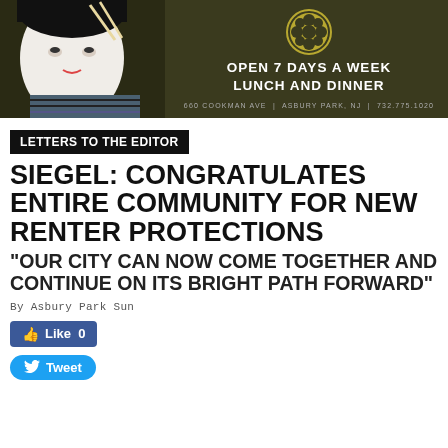[Figure (illustration): Restaurant advertisement banner with dark olive background, Japanese-style face illustration on left, flower logo, text 'OPEN 7 DAYS A WEEK LUNCH AND DINNER', address '660 COOKMAN AVE | ASBURY PARK, NJ | 732.775.1020']
LETTERS TO THE EDITOR
SIEGEL: CONGRATULATES ENTIRE COMMUNITY FOR NEW RENTER PROTECTIONS
"OUR CITY CAN NOW COME TOGETHER AND CONTINUE ON ITS BRIGHT PATH FORWARD"
By Asbury Park Sun
[Figure (screenshot): Facebook Like button showing 'Like 0']
[Figure (screenshot): Twitter Tweet button]